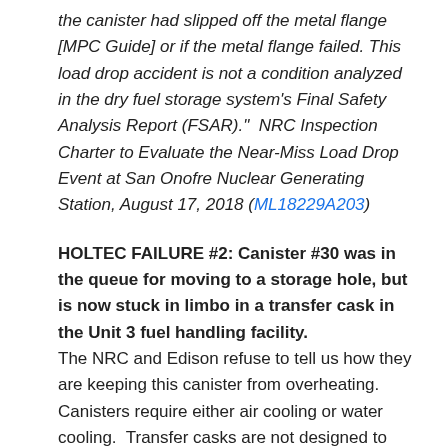the canister had slipped off the metal flange [MPC Guide] or if the metal flange failed. This load drop accident is not a condition analyzed in the dry fuel storage system's Final Safety Analysis Report (FSAR)."  NRC Inspection Charter to Evaluate the Near-Miss Load Drop Event at San Onofre Nuclear Generating Station, August 17, 2018 (ML18229A203)
HOLTEC FAILURE #2: Canister #30 was in the queue for moving to a storage hole, but is now stuck in limbo in a transfer cask in the Unit 3 fuel handling facility. The NRC and Edison refuse to tell us how they are keeping this canister from overheating.  Canisters require either air cooling or water cooling.  Transfer casks are not designed to cool and store these hot canisters that are 200 to 300 degrees Celsius (just under 30kW).  The